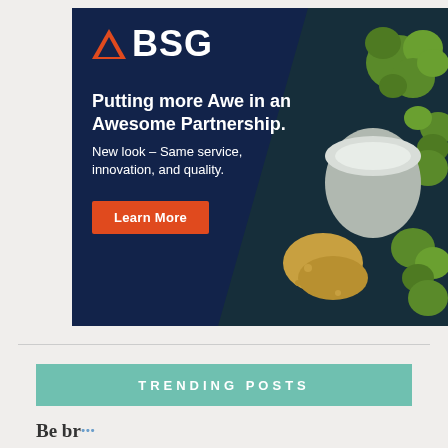[Figure (illustration): BSG advertisement banner with dark navy background, orange triangle logo, BSG text, headline 'Putting more Awe in an Awesome Partnership.', subtext 'New look – Same service, innovation, and quality.', a red Learn More button, and a photo of beer ingredients (hops, grain, beer glass) on the right side.]
TRENDING POSTS
Be br...